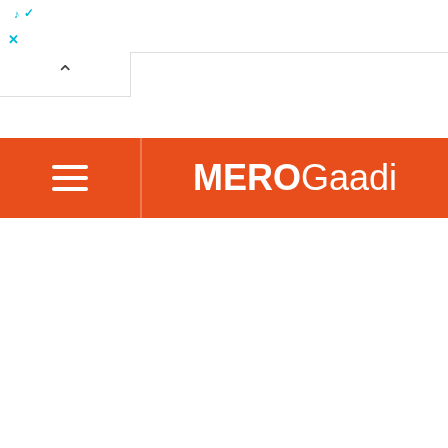[Figure (screenshot): Top browser bar with ad text in cyan and close X button]
[Figure (screenshot): Browser tab bar with a chevron/up arrow tab button]
[Figure (logo): MeroGaadi navigation bar with hamburger menu icon on orange background. Logo reads MERO in bold white and Gaadi in regular white.]